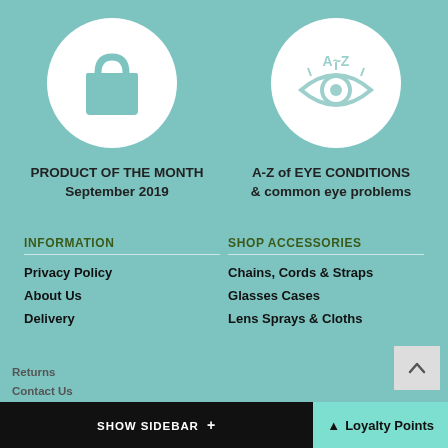[Figure (illustration): Shopping bag icon inside white circle on teal background]
[Figure (illustration): A~Z eye conditions icon with eye and text inside white circle on teal background]
PRODUCT OF THE MONTH
September 2019
A-Z of EYE CONDITIONS
& common eye problems
INFORMATION
Privacy Policy
About Us
Delivery
Returns
Contact Us
SHOP ACCESSORIES
Chains, Cords & Straps
Glasses Cases
Lens Sprays & Cloths
SHOW SIDEBAR +    Loyalty Points